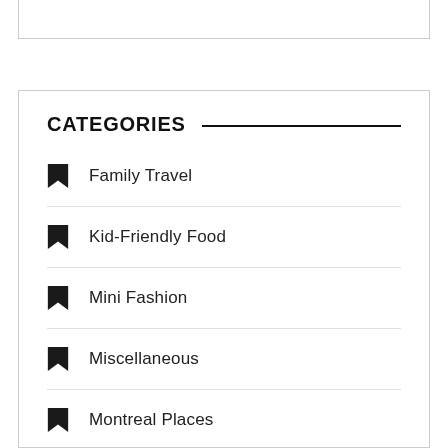Family Travel
Kid-Friendly Food
Mini Fashion
Miscellaneous
Montreal Places